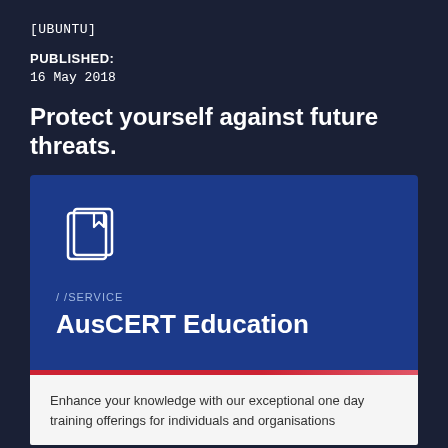[UBUNTU]
PUBLISHED:
16 May 2018
Protect yourself against future threats.
[Figure (illustration): Book/document icon with bookmark, white outline on blue background]
//SERVICE
AusCERT Education
Enhance your knowledge with our exceptional one day training offerings for individuals and organisations